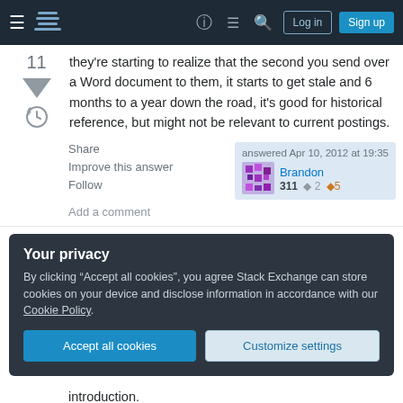Stack Exchange navigation bar with Log in and Sign up buttons
they're starting to realize that the second you send over a Word document to them, it starts to get stale and 6 months to a year down the road, it's good for historical reference, but might not be relevant to current postings.
Share  Improve this answer  Follow  answered Apr 10, 2012 at 19:35  Brandon  311 ◆2 ◆5
Add a comment
Your privacy
By clicking "Accept all cookies", you agree Stack Exchange can store cookies on your device and disclose information in accordance with our Cookie Policy.
Accept all cookies  Customize settings
introduction.